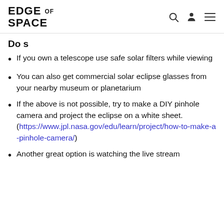EDGE OF SPACE
Do s
If you own a telescope use safe solar filters while viewing
You can also get commercial solar eclipse glasses from your nearby museum or planetarium
If the above is not possible, try to make a DIY pinhole camera and project the eclipse on a white sheet. (https://www.jpl.nasa.gov/edu/learn/project/how-to-make-a-pinhole-camera/)
Another great option is watching the live stream